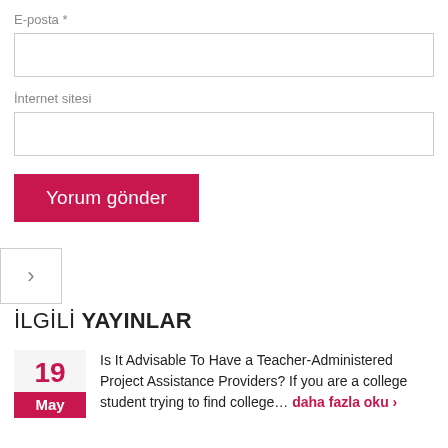E-posta *
İnternet sitesi
Yorum gönder
İLGİLİ YAYINLAR
Is It Advisable To Have a Teacher-Administered Project Assistance Providers? If you are a college student trying to find college… daha fazla oku ›